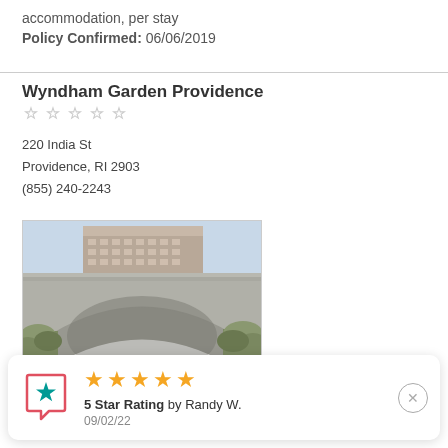accommodation, per stay
Policy Confirmed: 06/06/2019
Wyndham Garden Providence
220 India St
Providence, RI 2903
(855) 240-2243
[Figure (photo): Exterior photo of Wyndham Garden Providence hotel building visible above a concrete bridge arch with vegetation in foreground]
5 Star Rating by Randy W.
09/02/22